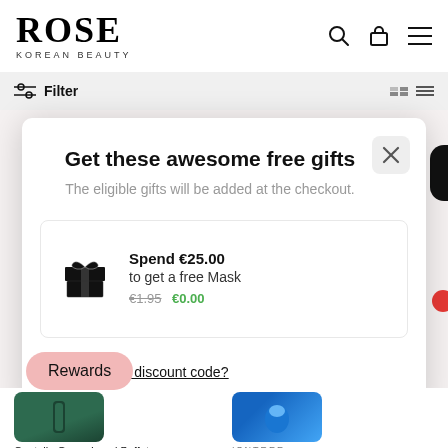ROSE KOREAN BEAUTY
Filter
Get these awesome free gifts
The eligible gifts will be added at the checkout.
Spend €25.00 to get a free Mask €1.95 €0.00
Have a discount code?
Rewards
ISNTREE
€25.95
Centella Green Level Buffet
Hyualronic Acid Water Essence